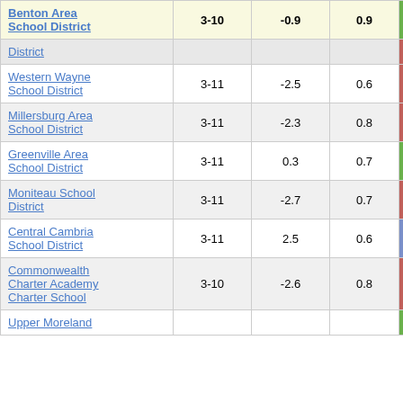| School District | Grades | Col3 | Col4 | Score |
| --- | --- | --- | --- | --- |
| Benton Area School District | 3-10 | -0.9 | 0.9 | -0.98 |
| [partial District] |  |  |  |  |
| Western Wayne School District | 3-11 | -2.5 | 0.6 | -4.02 |
| Millersburg Area School District | 3-11 | -2.3 | 0.8 | -2.81 |
| Greenville Area School District | 3-11 | 0.3 | 0.7 | 0.48 |
| Moniteau School District | 3-11 | -2.7 | 0.7 | -3.99 |
| Central Cambria School District | 3-11 | 2.5 | 0.6 | 4.43 |
| Commonwealth Charter Academy Charter School | 3-10 | -2.6 | 0.8 | -3.07 |
| Upper Moreland |  |  |  |  |